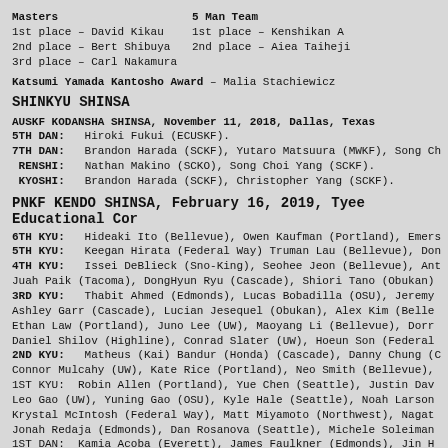Masters
1st place – David Kikau
2nd place – Bert Shibuya
3rd place – Carl Nakamura
5 Man Team
1st place – Kenshikan A
2nd place – Aiea Taiheji
Katsumi Yamada Kantosho Award – Malia Stachiewicz
SHINKYU SHINSA
AUSKF KODANSHA SHINSA, November 11, 2018, Dallas, Texas
5TH DAN: Hiroki Fukui (ECUSKF).
7TH DAN: Brandon Harada (SCKF), Yutaro Matsuura (MWKF), Song Ch
RENSHI: Nathan Makino (SCKO), Song Choi Yang (SCKF).
KYOSHI: Brandon Harada (SCKF), Christopher Yang (SCKF).
PNKF KENDO SHINSA, February 16, 2019, Tyee Educational Cor
6TH KYU: Hideaki Ito (Bellevue), Owen Kaufman (Portland), Emers
5TH KYU: Keegan Hirata (Federal Way) Truman Lau (Bellevue), Don
4TH KYU: Issei DeBlieck (Sno-King), Seohee Jeon (Bellevue), Ant
Juah Paik (Tacoma), DongHyun Ryu (Cascade), Shiori Tano (Obukan)
3RD KYU: Thabit Ahmed (Edmonds), Lucas Bobadilla (OSU), Jeremy
Ashley Garr (Cascade), Lucian Jesequel (Obukan), Alex Kim (Belle
Ethan Law (Portland), Juno Lee (UW), Maoyang Li (Bellevue), Dorr
Daniel Shilov (Highline), Conrad Slater (UW), Hoeun Son (Federal
2ND KYU: Matheus (Kai) Bandur (Honda) (Cascade), Danny Chung (C
Connor Mulcahy (UW), Kate Rice (Portland), Neo Smith (Bellevue),
1ST KYU: Robin Allen (Portland), Yue Chen (Seattle), Justin Dav
Leo Gao (UW), Yuning Gao (OSU), Kyle Hale (Seattle), Noah Larson
Krystal McIntosh (Federal Way), Matt Miyamoto (Northwest), Nagat
Jonah Redaja (Edmonds), Dan Rosanova (Seattle), Michele Soleiman
1ST DAN: Kamia Acoba (Everett), James Faulkner (Edmonds), Jin H
Simon Lee (Federal Way).